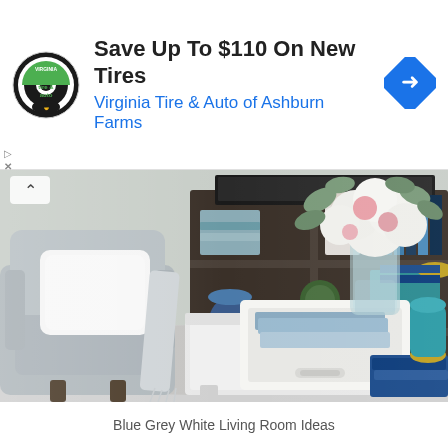[Figure (other): Advertisement banner for Virginia Tire & Auto. Contains logo (circular tire & auto logo), headline 'Save Up To $110 On New Tires', subheadline 'Virginia Tire & Auto of Ashburn Farms', and a blue diamond arrow icon on the right.]
[Figure (photo): Interior photo of a blue-grey-white living room featuring a white coffee table with a wooden serving tray, a mason jar vase with white and pink flowers and eucalyptus, books, a grey armchair with white pillow and throw blanket, a dark bookshelf unit with TV above, and various decorative items in blue and teal tones.]
Blue Grey White Living Room Ideas